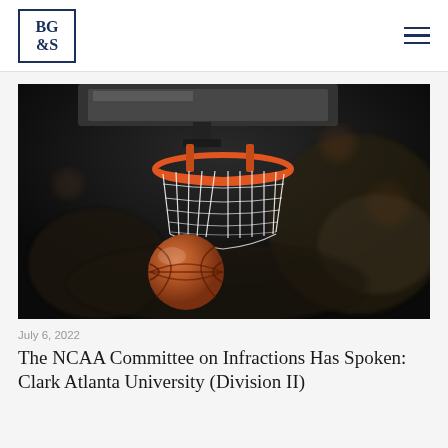BG&S
[Figure (photo): Close-up photograph of a basketball hoop with white net and an orange basketball falling beneath it, dark blurred crowd background]
July 6, 2022
The NCAA Committee on Infractions Has Spoken: Clark Atlanta University (Division II)